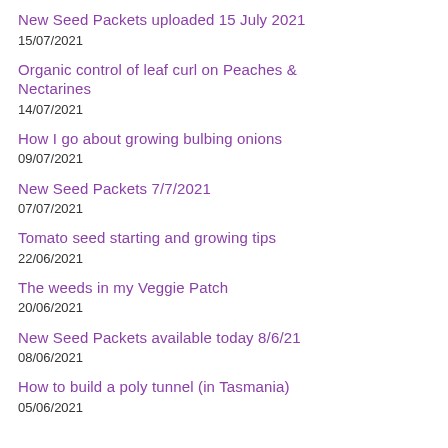New Seed Packets uploaded 15 July 2021
15/07/2021
Organic control of leaf curl on Peaches & Nectarines
14/07/2021
How I go about growing bulbing onions
09/07/2021
New Seed Packets 7/7/2021
07/07/2021
Tomato seed starting and growing tips
22/06/2021
The weeds in my Veggie Patch
20/06/2021
New Seed Packets available today 8/6/21
08/06/2021
How to build a poly tunnel (in Tasmania)
05/06/2021